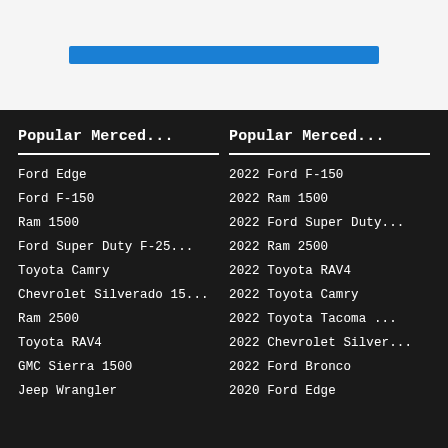[Figure (other): Blue progress or loading bar on light gray background]
Popular Merced...
Ford Edge
Ford F-150
Ram 1500
Ford Super Duty F-25...
Toyota Camry
Chevrolet Silverado 15...
Ram 2500
Toyota RAV4
GMC Sierra 1500
Jeep Wrangler
Popular Merced...
2022 Ford F-150
2022 Ram 1500
2022 Ford Super Duty...
2022 Ram 2500
2022 Toyota RAV4
2022 Toyota Camry
2022 Toyota Tacoma ...
2022 Chevrolet Silver...
2022 Ford Bronco
2020 Ford Edge